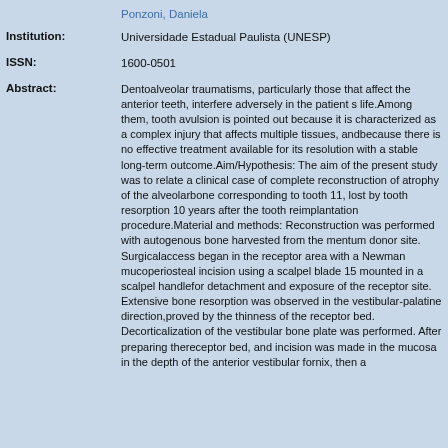Ponzoni, Daniela
Institution: Universidade Estadual Paulista (UNESP)
ISSN: 1600-0501
Abstract: Dentoalveolar traumatisms, particularly those that affect the anterior teeth, interfere adversely in the patient s life.Among them, tooth avulsion is pointed out because it is characterized as a complex injury that affects multiple tissues, andbecause there is no effective treatment available for its resolution with a stable long-term outcome.Aim/Hypothesis: The aim of the present study was to relate a clinical case of complete reconstruction of atrophy of the alveolarbone corresponding to tooth 11, lost by tooth resorption 10 years after the tooth reimplantation procedure.Material and methods: Reconstruction was performed with autogenous bone harvested from the mentum donor site. Surgicalaccess began in the receptor area with a Newman mucoperiosteal incision using a scalpel blade 15 mounted in a scalpel handlefor detachment and exposure of the receptor site. Extensive bone resorption was observed in the vestibular-palatine direction,proved by the thinness of the receptor bed. Decorticalization of the vestibular bone plate was performed. After preparing thereceptor bed, and incision was made in the mucosa in the depth of the anterior vestibular fornix, then a